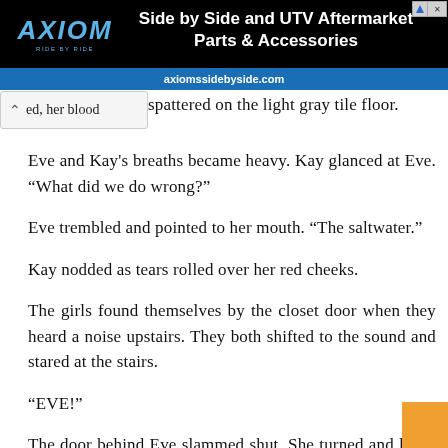[Figure (screenshot): Axiom Side by Side and UTV Aftermarket Parts & Accessories advertisement banner with black background, blue Axiom logo, white bold text headline, and blue URL bar showing axiomssidebyside.com]
ed, her blood spattered on the light gray tile floor.
Eve and Kay's breaths became heavy. Kay glanced at Eve. “What did we do wrong?”
Eve trembled and pointed to her mouth. “The saltwater.”
Kay nodded as tears rolled over her red cheeks.
The girls found themselves by the closet door when they heard a noise upstairs. They both shifted to the sound and stared at the stairs.
“EVE!”
The door behind Eve slammed shut. She turned and lifted her phone to eye level. She grasped the door handle and twisted it.